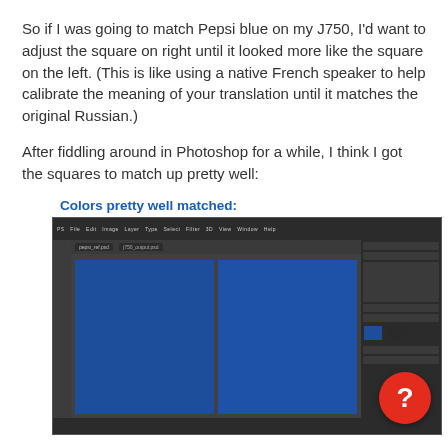So if I was going to match Pepsi blue on my J750, I'd want to adjust the square on right until it looked more like the square on the left. (This is like using a native French speaker to help calibrate the meaning of your translation until it matches the original Russian.)
After fiddling around in Photoshop for a while, I think I got the squares to match up pretty well:
Colors pretty well matched:
[Figure (screenshot): A Photoshop screenshot showing two side-by-side blue squares (Pepsi blue color) in the canvas area, with the Photoshop interface including toolbar, panels, and a red circle with a question mark in the bottom right.]